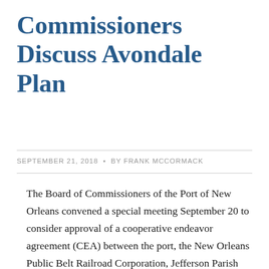Commissioners Discuss Avondale Plan
SEPTEMBER 21, 2018  •  BY FRANK MCCORMACK
The Board of Commissioners of the Port of New Orleans convened a special meeting September 20 to consider approval of a cooperative endeavor agreement (CEA) between the port, the New Orleans Public Belt Railroad Corporation, Jefferson Parish and Avondale Marine LLC “to facilitate the redevelopment of the former